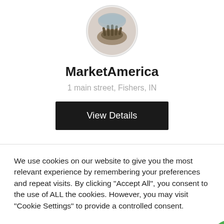[Figure (photo): Circular profile image showing hands in soil/nature scene, with a light gray circle border]
MarketAmerica
1 main street, Fishers, IN
View Details
We use cookies on our website to give you the most relevant experience by remembering your preferences and repeat visits. By clicking “Accept All”, you consent to the use of ALL the cookies. However, you may visit “Cookie Settings” to provide a controlled consent.
Cookie Settings
Accept All
Call Now